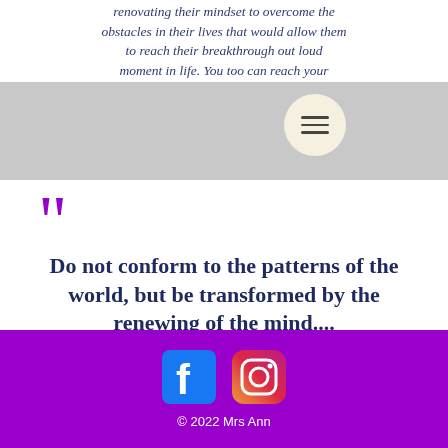renovating their mindset to overcome the obstacles in their lives that would allow them to reach their breakthrough out loud moment in life. You too can reach your [breakthrough] by [living boldly].
[Figure (screenshot): Gray navigation bar with hamburger menu icon in a circular off-white button]
““ Do not conform to the patterns of the world, but be transformed by the renewing of the mind....
Romans 12:2a
[Figure (infographic): Purple footer banner with Facebook and Instagram social media icons and copyright text: © 2022 Mrs Ann]